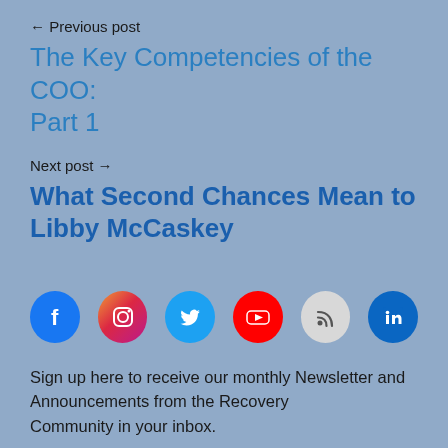← Previous post
The Key Competencies of the COO: Part 1
Next post →
What Second Chances Mean to Libby McCaskey
[Figure (infographic): Row of six social media icon circles: Facebook (blue), Instagram (gradient pink/purple), Twitter (light blue), YouTube (red), RSS (light gray), LinkedIn (dark blue)]
Sign up here to receive our monthly Newsletter and Announcements from the Recovery Community in your inbox.